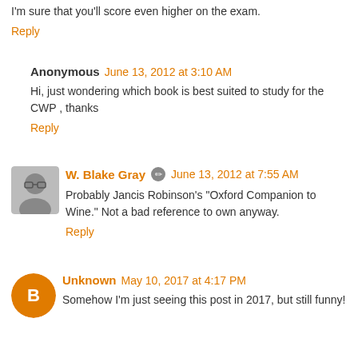I'm sure that you'll score even higher on the exam.
Reply
Anonymous  June 13, 2012 at 3:10 AM
Hi, just wondering which book is best suited to study for the CWP , thanks
Reply
W. Blake Gray  June 13, 2012 at 7:55 AM
Probably Jancis Robinson's "Oxford Companion to Wine." Not a bad reference to own anyway.
Reply
Unknown  May 10, 2017 at 4:17 PM
Somehow I'm just seeing this post in 2017, but still funny!